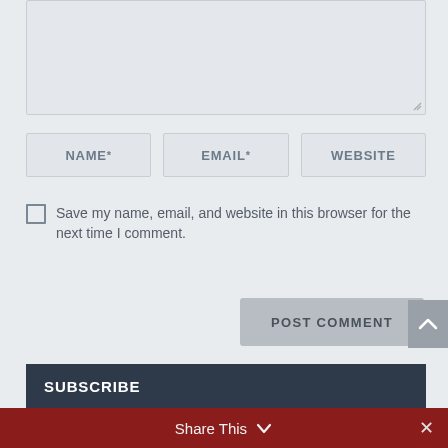[Figure (screenshot): A textarea input field (empty, with resize handle at bottom right)]
NAME *
EMAIL *
WEBSITE
Save my name, email, and website in this browser for the next time I comment.
POST COMMENT
SEARCH ...
SUBSCRIBE
Share This